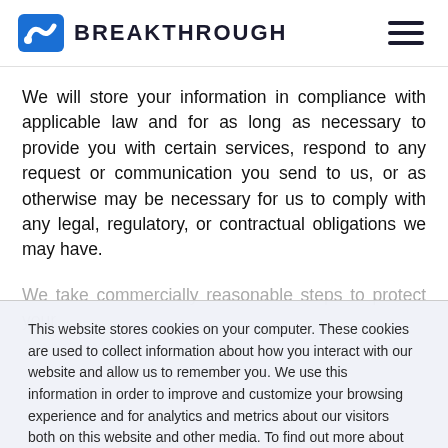BREAKTHROUGH
We will store your information in compliance with applicable law and for as long as necessary to provide you with certain services, respond to any request or communication you send to us, or as otherwise may be necessary for us to comply with any legal, regulatory, or contractual obligations we may have.
We take commercially reasonable steps to protect your
This website stores cookies on your computer. These cookies are used to collect information about how you interact with our website and allow us to remember you. We use this information in order to improve and customize your browsing experience and for analytics and metrics about our visitors both on this website and other media. To find out more about the cookies we use, see our Privacy Policy
Accept